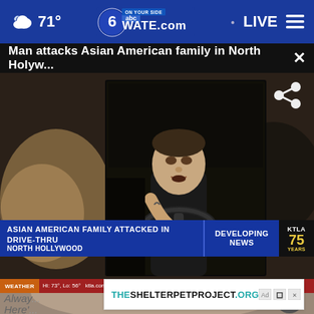71° WATE.com ON YOUR SIDE abc 6 LIVE
Man attacks Asian American family in North Holyw...
[Figure (screenshot): Video screenshot from KTLA news showing a man in a car at a drive-thru, with news lower third reading 'ASIAN AMERICAN FAMILY ATTACKED IN DRIVE-THRU NORTH HOLLYWOOD' and 'DEVELOPING NEWS', KTLA 75 YEARS branding, weather ticker at bottom.]
Alwa... g, Here'...
[Figure (other): Advertisement banner for THESHELTERPETPROJECT.ORG with ad choice icons]